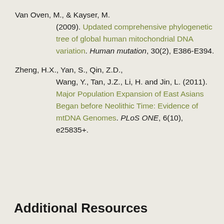Van Oven, M., & Kayser, M. (2009). Updated comprehensive phylogenetic tree of global human mitochondrial DNA variation. Human mutation, 30(2), E386-E394.
Zheng, H.X., Yan, S., Qin, Z.D., Wang, Y., Tan, J.Z., Li, H. and Jin, L. (2011). Major Population Expansion of East Asians Began before Neolithic Time: Evidence of mtDNA Genomes. PLoS ONE, 6(10), e25835+.
Additional Resources